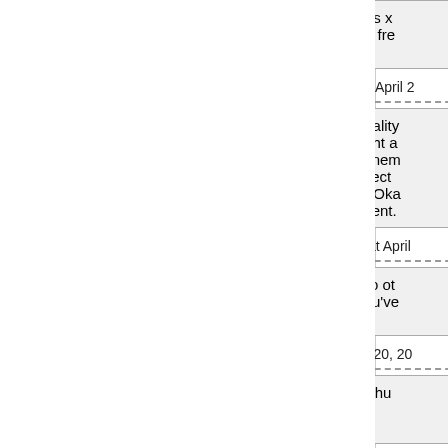1099 inspiration software download windows x Kindle software download autocad software fre free download
Posted by: dvd player software free download at April 2
1100 Given the amazing value and functionality of this i - Pad application, however, you might a The tenth film released under the Marvel Cinem Galaxy" introduces audiences to a new aspect of the comic mythos. Hippy Grandparents - Oka grandpa is just as cool as a Disco grandparent.
Posted by: avengers age of ultron watch online at April
1101 Your style is really unique compared to ot read stuff from. Thanks for posting when you've this blog.
Posted by: Incredible Pump Supplement at April 20, 20
1102 Hello! I simply want to offer you a big thu here on this post. I am returning to your site for more soon.